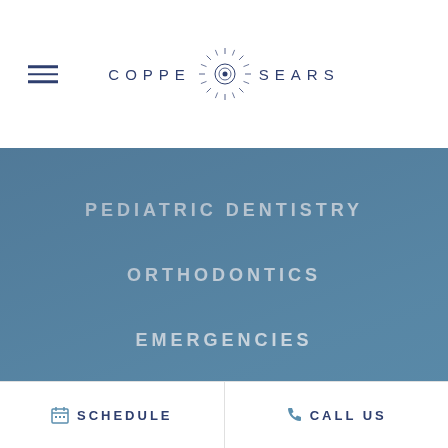[Figure (logo): Coppe Sears dental practice logo with sunburst/starburst emblem between the two name words]
PEDIATRIC DENTISTRY
ORTHODONTICS
EMERGENCIES
BLOG
CONTACT US
SCHEDULE   CALL US